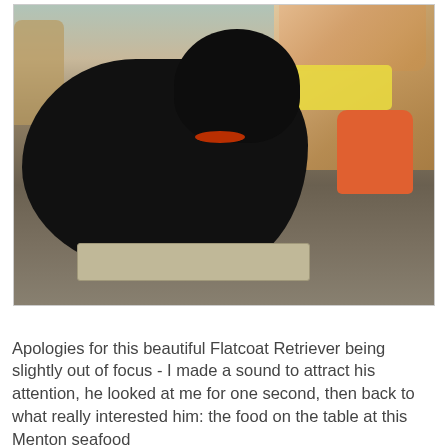[Figure (photo): A black Flatcoat Retriever dog at an outdoor restaurant, standing near a dining table where people are seated. The dog appears slightly out of focus. People in the background include someone wearing a pink top and another in orange shorts. The table has a yellow tablecloth with food and dishes. The ground is stone/gravel patio.]
Apologies for this beautiful Flatcoat Retriever being slightly out of focus - I made a sound to attract his attention, he looked at me for one second, then back to what really interested him: the food on the table at this Menton seafood